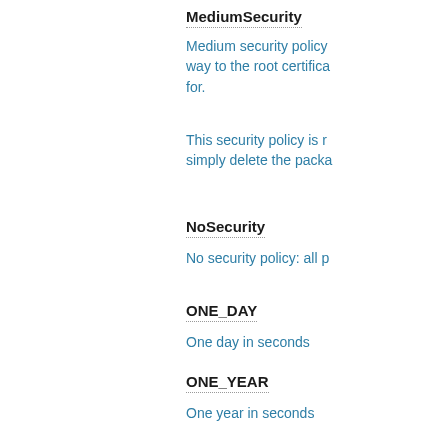MediumSecurity
Medium security policy way to the root certifica for.
This security policy is r simply delete the packa
NoSecurity
No security policy: all p
ONE_DAY
One day in seconds
ONE_YEAR
One year in seconds
Policies
Hash of configured secu